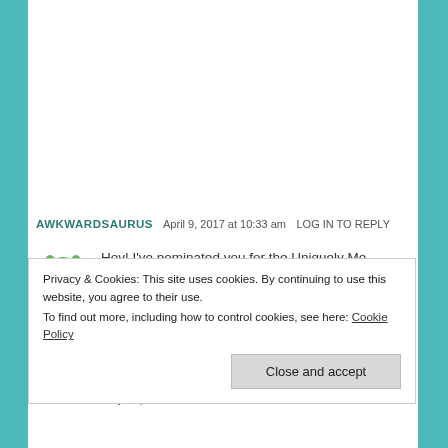AWKWARDSAURUS   April 9, 2017 at 10:33 am   LOG IN TO REPLY
Hey! I've nominated you for the Uniquely Me Tag! https://awkwardsaurus.wordpress.com/2017/04/09/the-uniquely-me-tag/
★ Liked by 1 person
Privacy & Cookies: This site uses cookies. By continuing to use this website, you agree to their use.
To find out more, including how to control cookies, see here: Cookie Policy
Close and accept